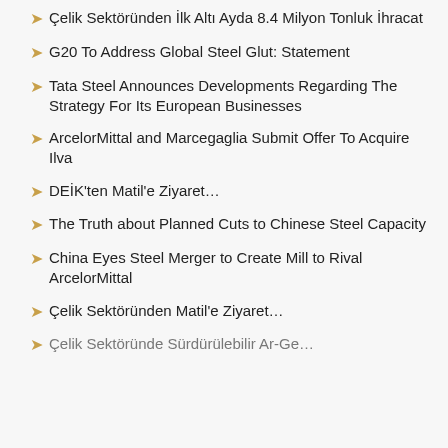Çelik Sektöründen İlk Altı Ayda 8.4 Milyon Tonluk İhracat
G20 To Address Global Steel Glut: Statement
Tata Steel Announces Developments Regarding The Strategy For Its European Businesses
ArcelorMittal and Marcegaglia Submit Offer To Acquire Ilva
DEİK'ten Matil'e Ziyaret…
The Truth about Planned Cuts to Chinese Steel Capacity
China Eyes Steel Merger to Create Mill to Rival ArcelorMittal
Çelik Sektöründen Matil'e Ziyaret…
Çelik Sektöründe Sürdürülebilir Ar-Ge…